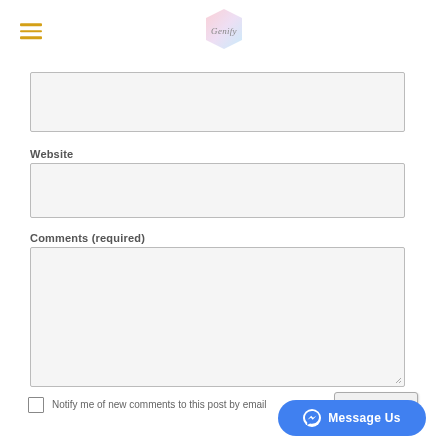[Figure (logo): Genify hexagon logo centered in top navigation bar]
Website
Comments (required)
Notify me of new comments to this post by email
Submit
Message Us